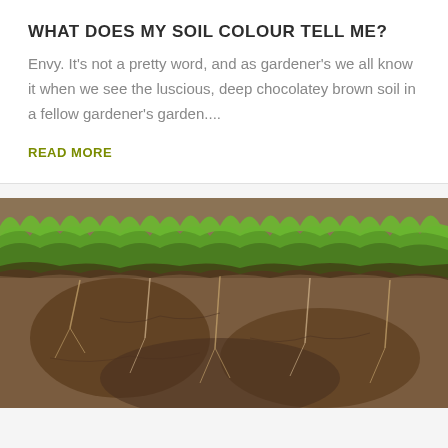WHAT DOES MY SOIL COLOUR TELL ME?
Envy. It's not a pretty word, and as gardener's we all know it when we see the luscious, deep chocolatey brown soil in a fellow gardener's garden....
READ MORE
[Figure (photo): Cross-section of soil showing green grass on top and brown earthy soil with plant roots below]